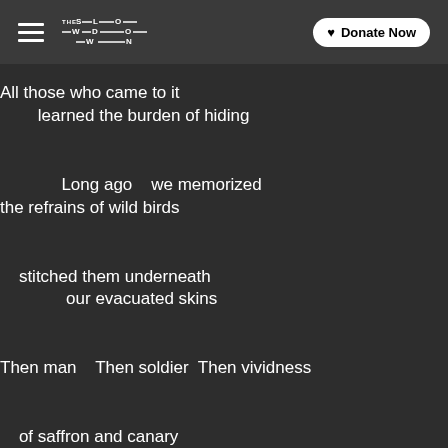THE SLOWDOWN | Donate Now
All those who came to it
        learned the burden of hiding

             Long ago    we memorized
the refrains of wild birds

    stitched them underneath
              our evacuated skins

Then man    Then soldier  Then vividness

    of saffron and canary
         arriving as small showers